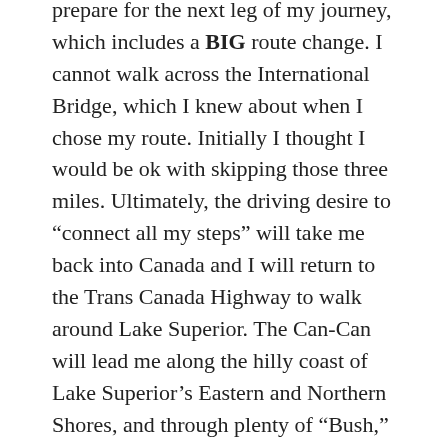prepare for the next leg of my journey, which includes a BIG route change. I cannot walk across the International Bridge, which I knew about when I chose my route. Initially I thought I would be ok with skipping those three miles. Ultimately, the driving desire to “connect all my steps” will take me back into Canada and I will return to the Trans Canada Highway to walk around Lake Superior. The Can-Can will lead me along the hilly coast of Lake Superior’s Eastern and Northern Shores, and through plenty of “Bush,” as the locals say, before passing through Thunder Bay, where I will head south into Minnesota. The route will add about 190 miles to my walk, sounds physically demanding, desolate (there is a 100 mile stretch with no towns or services), and more adventurous than the alternative. I am all in!